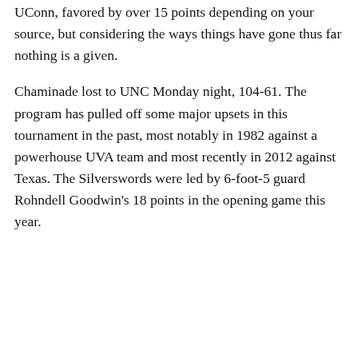UConn, favored by over 15 points depending on your source, but considering the ways things have gone thus far nothing is a given.
Chaminade lost to UNC Monday night, 104-61. The program has pulled off some major upsets in this tournament in the past, most notably in 1982 against a powerhouse UVA team and most recently in 2012 against Texas. The Silverswords were led by 6-foot-5 guard Rohndell Goodwin’s 18 points in the opening game this year.